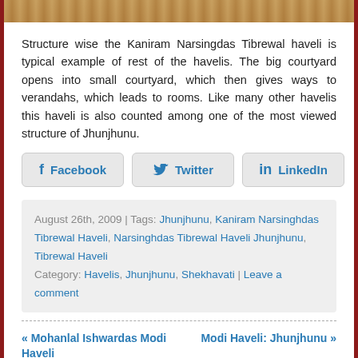[Figure (photo): Top strip showing a decorative image of a haveli with colorful artwork/fresco detail]
Structure wise the Kaniram Narsingdas Tibrewal haveli is typical example of rest of the havelis. The big courtyard opens into small courtyard, which then gives ways to verandahs, which leads to rooms. Like many other havelis this haveli is also counted among one of the most viewed structure of Jhunjhunu.
[Figure (infographic): Social sharing buttons: Facebook, Twitter, LinkedIn]
August 26th, 2009 | Tags: Jhunjhunu, Kaniram Narsinghdas Tibrewal Haveli, Narsinghdas Tibrewal Haveli Jhunjhunu, Tibrewal Haveli Category: Havelis, Jhunjhunu, Shekhavati | Leave a comment
« Mohanlal Ishwardas Modi Haveli   Modi Haveli: Jhunjhunu »
Leave a Reply